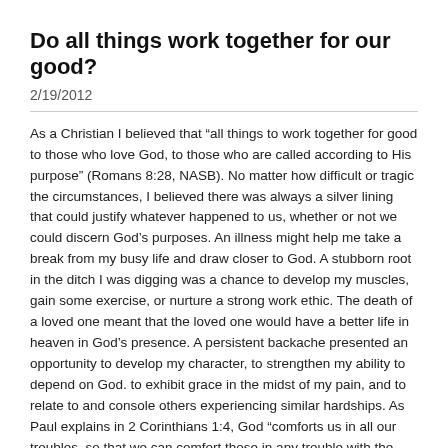Do all things work together for our good?
2/19/2012
As a Christian I believed that “all things to work together for good to those who love God, to those who are called according to His purpose” (Romans 8:28, NASB). No matter how difficult or tragic the circumstances, I believed there was always a silver lining that could justify whatever happened to us, whether or not we could discern God’s purposes. An illness might help me take a break from my busy life and draw closer to God. A stubborn root in the ditch I was digging was a chance to develop my muscles, gain some exercise, or nurture a strong work ethic. The death of a loved one meant that the loved one would have a better life in heaven in God’s presence. A persistent backache presented an opportunity to develop my character, to strengthen my ability to depend on God. to exhibit grace in the midst of my pain, and to relate to and console others experiencing similar hardships. As Paul explains in 2 Corinthians 1:4, God “comforts us in all our troubles, so that we can comfort those in any trouble with the comfort we ourselves receive from God.”